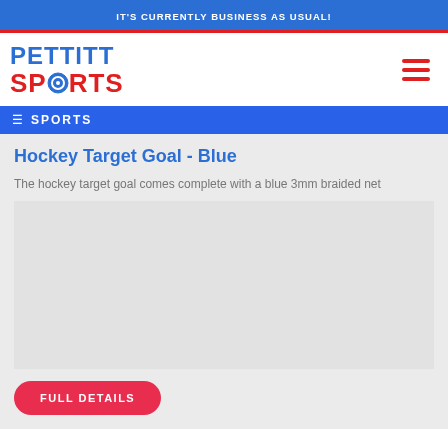IT'S CURRENTLY BUSINESS AS USUAL!
[Figure (logo): Pettitt Sports logo with blue PETTITT text and red SPORTS text with a hockey puck O]
Hockey Target Goal - Blue
The hockey target goal comes complete with a blue 3mm braided net
[Figure (photo): Product image area - empty/placeholder for hockey target goal]
FULL DETAILS